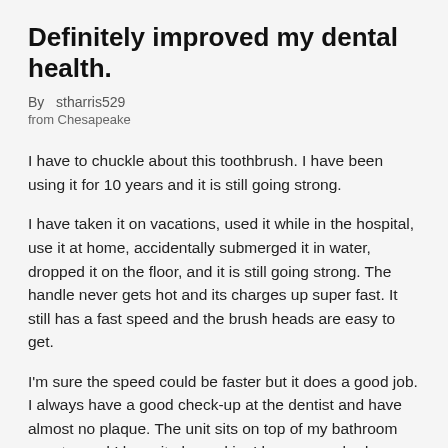Definitely improved my dental health.
By  stharris529
from Chesapeake
I have to chuckle about this toothbrush. I have been using it for 10 years and it is still going strong.
I have taken it on vacations, used it while in the hospital, use it at home, accidentally submerged it in water, dropped it on the floor, and it is still going strong. The handle never gets hot and its charges up super fast. It still has a fast speed and the brush heads are easy to get.
I'm sure the speed could be faster but it does a good job. I always have a good check-up at the dentist and have almost no plaque. The unit sits on top of my bathroom counter and I keep it plugged in. I have never had any issues with power, it not charging, or the brush heads not moving. The unit is completely